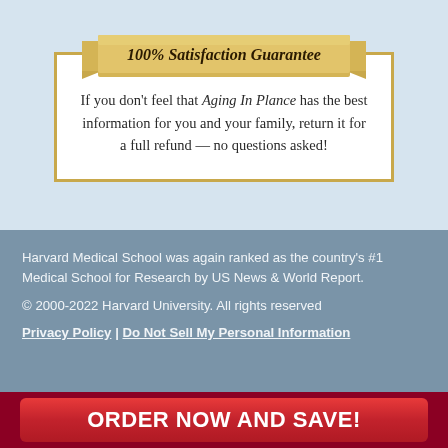[Figure (infographic): Gold ribbon banner reading '100% Satisfaction Guarantee' above a white box with gold border containing a guarantee statement about Aging In Plance.]
If you don't feel that Aging In Plance has the best information for you and your family, return it for a full refund — no questions asked!
Harvard Medical School was again ranked as the country's #1 Medical School for Research by US News & World Report.
© 2000-2022 Harvard University. All rights reserved
Privacy Policy | Do Not Sell My Personal Information
ORDER NOW AND SAVE!